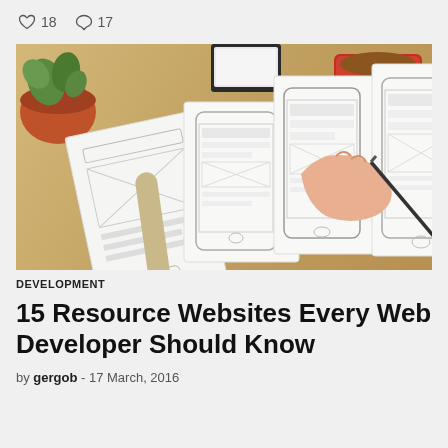♡ 18   ○ 17
[Figure (photo): Overhead view of a wooden desk with wireframe sketches of mobile app screens on paper, a hand holding a pencil drawing on the wireframes, a red coffee mug, a smartphone, and a small potted succulent plant.]
DEVELOPMENT
15 Resource Websites Every Web Developer Should Know
by gergob - 17 March, 2016